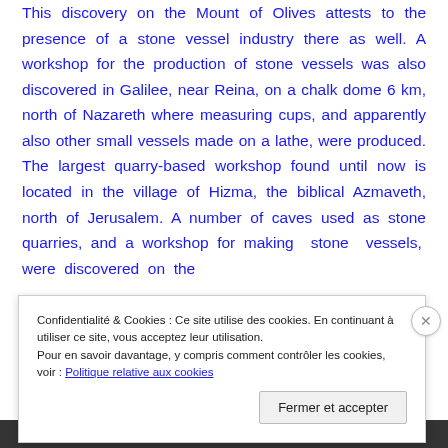This discovery on the Mount of Olives attests to the presence of a stone vessel industry there as well. A workshop for the production of stone vessels was also discovered in Galilee, near Reina, on a chalk dome 6 km, north of Nazareth where measuring cups, and apparently also other small vessels made on a lathe, were produced. The largest quarry-based workshop found until now is located in the village of Hizma, the biblical Azmaveth, north of Jerusalem. A number of caves used as stone quarries, and a workshop for making stone vessels, were discovered on the
Confidentialité & Cookies : Ce site utilise des cookies. En continuant à utiliser ce site, vous acceptez leur utilisation.
Pour en savoir davantage, y compris comment contrôler les cookies, voir : Politique relative aux cookies
Fermer et accepter